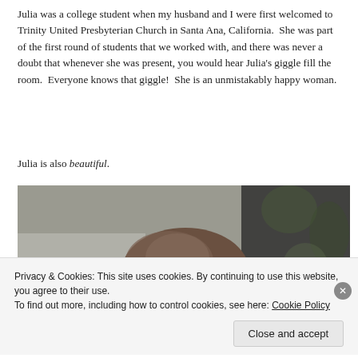Julia was a college student when my husband and I were first welcomed to Trinity United Presbyterian Church in Santa Ana, California.  She was part of the first round of students that we worked with, and there was never a doubt that whenever she was present, you would hear Julia’s giggle fill the room.  Everyone knows that giggle!  She is an unmistakably happy woman.
Julia is also beautiful.
[Figure (photo): Portrait photo of a woman with brown hair, shown from the top of her head. Photo is partially obscured by a cookie consent banner overlay. Background is blurred indoor setting.]
Privacy & Cookies: This site uses cookies. By continuing to use this website, you agree to their use.
To find out more, including how to control cookies, see here: Cookie Policy
Close and accept